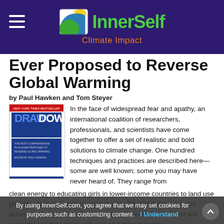InnerSelf Climate Impact
Ever Proposed to Reverse Global Warming
by Paul Hawken and Tom Steyer
[Figure (illustration): Book cover of Drawdown: The Most Comprehensive Plan Ever Proposed to Reverse Global Warming, edited by Paul Hawken. Blue text on white cover.]
In the face of widespread fear and apathy, an international coalition of researchers, professionals, and scientists have come together to offer a set of realistic and bold solutions to climate change. One hundred techniques and practices are described here—some are well known; some you may have never heard of. They range from clean energy to educating girls in lower-income countries to land use practices that pull carbon out of the air. The solutions exist, are economically viable, and communities throughout the world are currently enacting them with skill and determination.
Available On Amazon
By using InnerSelf.com, you agree that we may set cookies for purposes such as customizing content.  I Understand